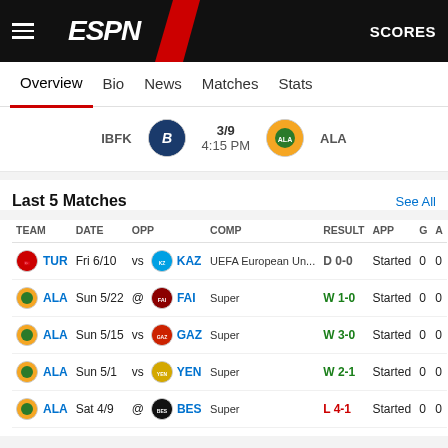ESPN — SCORES
Overview | Bio | News | Matches | Stats
IBFK 3/9 4:15 PM ALA
Last 5 Matches  See All
| TEAM | DATE | OPP | COMP | RESULT | APP | G | A |
| --- | --- | --- | --- | --- | --- | --- | --- |
| TUR | Fri 6/10 | vs KAZ | UEFA European Un... | D 0-0 | Started | 0 | 0 |
| ALA | Sun 5/22 | @ FAI | Super | W 1-0 | Started | 0 | 0 |
| ALA | Sun 5/15 | vs GAZ | Super | W 3-0 | Started | 0 | 0 |
| ALA | Sun 5/1 | vs YEN | Super | W 2-1 | Started | 0 | 0 |
| ALA | Sat 4/9 | @ BES | Super | L 4-1 | Started | 0 | 0 |